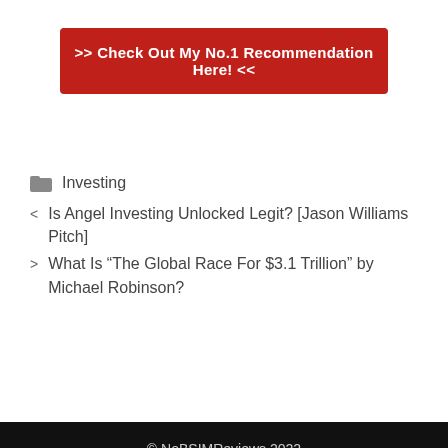>> Check Out My No.1 Recommendation Here! <<
Investing
< Is Angel Investing Unlocked Legit? [Jason Williams Pitch]
> What Is “The Global Race For $3.1 Trillion” by Michael Robinson?
© NoBSIMReviews 2022